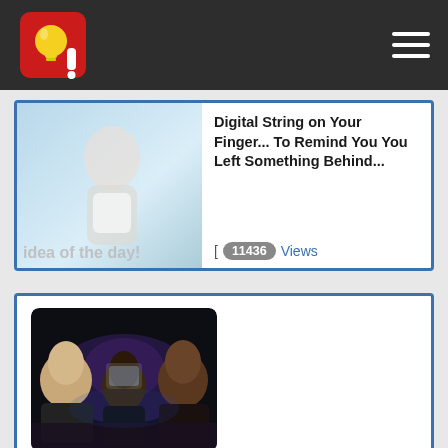Idea of the Day logo and navigation
[Figure (photo): Partially visible photo of a woman with 'idea of the day' text overlay]
Digital String on Your Finger... To Remind You You Left Something Behind...
[ 11436 Views
[Figure (photo): Photo of three people inside a car at night, car periscope video still]
A Car Periscope? Why Not?
[ 11408 Views